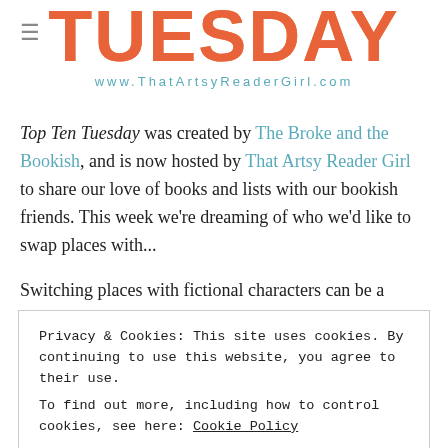TUESDAY
www.ThatArtsyReaderGirl.com
Top Ten Tuesday was created by The Broke and the Bookish, and is now hosted by That Artsy Reader Girl to share our love of books and lists with our bookish friends. This week we're dreaming of who we'd like to swap places with...
Switching places with fictional characters can be a daunting proposition. Sure, it worked out pretty well for Amanda in Lost in Austen, but dancing with Mr Darcy (even dealing...
Privacy & Cookies: This site uses cookies. By continuing to use this website, you agree to their use.
To find out more, including how to control cookies, see here: Cookie Policy
Close and accept
get invited to a wedding...